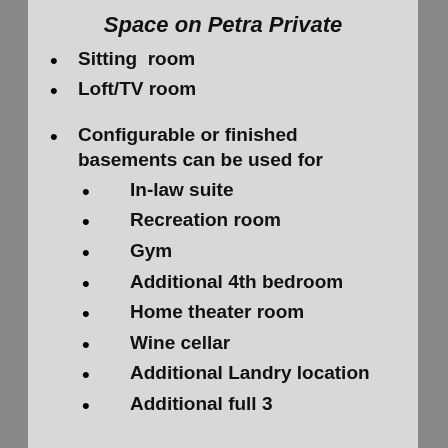Space on Petra Private
Sitting  room
Loft/TV room
Configurable or finished basements can be used for
In-law suite
Recreation room
Gym
Additional 4th bedroom
Home theater room
Wine cellar
Additional Landry location
Additional full 3